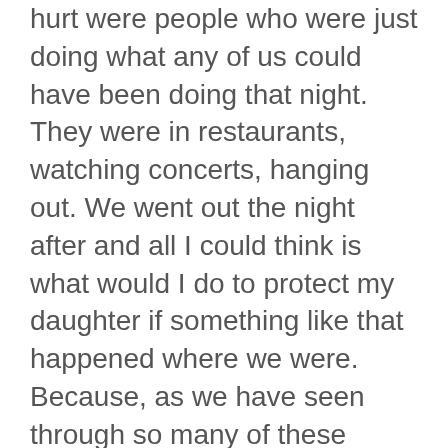hurt were people who were just doing what any of us could have been doing that night. They were in restaurants, watching concerts, hanging out. We went out the night after and all I could think is what would I do to protect my daughter if something like that happened where we were. Because, as we have seen through so many of these violent tragedies, it could have.
It's because I can't do anything to stop it. Changing my profile picture won't stop these people from hurting innocent people again.
When my friends started changing their pictures and colors to support France, I thought about it. That "try it" button is so easy to press. But I couldn't press it. Because all I could think was "Is this all you can do to help?". I felt guilty and sad because I don't want that to be all I could have done to make their pain less, to make things better for those people. I want to be able to do more.